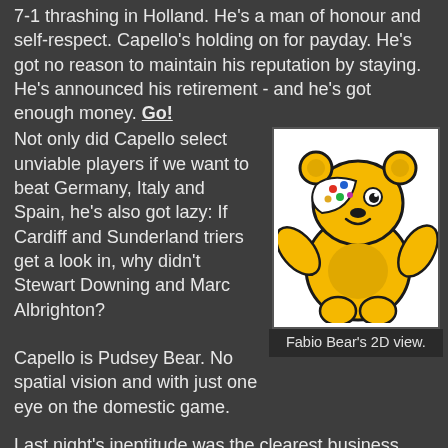7-1 thrashing in Holland. He's a man of honour and self-respect. Capello's holding on for payday. He's got no reason to maintain his reputation by staying. He's announced his retirement - and he's got enough money. Go!
Not only did Capello select unviable players if we want to beat Germany, Italy and Spain, he's also got lazy: If Cardiff and Sunderland triers get a look in, why didn't Stewart Downing and Marc Albrighton?
[Figure (illustration): Pudsey Bear cartoon character, yellow bear with spotted bandana over one eye, waving]
Fabio Bear's 2D view.
Capello is Pudsey Bear. No spatial vision and with just one eye on the domestic game.
Last night's ineptitude was the clearest business case yet for a National Football Centre.
Click here for the current Top Story
Soccermongery's all about your feedback, so write away,